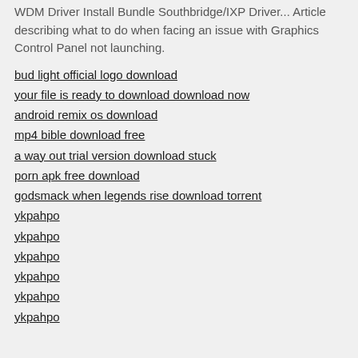WDM Driver Install Bundle Southbridge/IXP Driver... Article describing what to do when facing an issue with Graphics Control Panel not launching.
bud light official logo download
your file is ready to download download now
android remix os download
mp4 bible download free
a way out trial version download stuck
porn apk free download
godsmack when legends rise download torrent
ykpahpo
ykpahpo
ykpahpo
ykpahpo
ykpahpo
ykpahpo